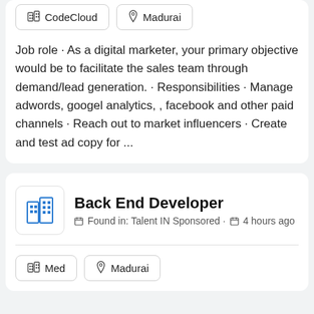CodeCloud | Madurai
Job role · As a digital marketer, your primary objective would be to facilitate the sales team through demand/lead generation. · Responsibilities · Manage adwords, googel analytics, , facebook and other paid channels · Reach out to market influencers · Create and test ad copy for ...
Back End Developer
Found in: Talent IN Sponsored · 4 hours ago
Med | Madurai